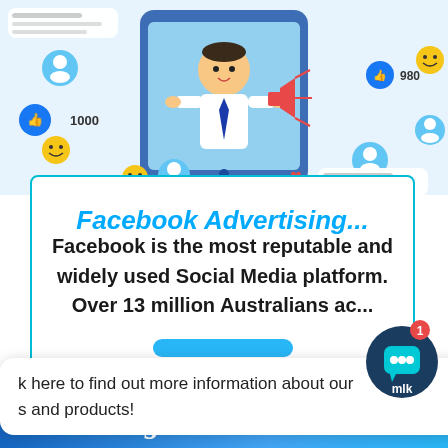[Figure (illustration): Social media marketing illustration: a man with megaphone on a tablet screen, surrounded by social media icons including likes (1000, 980), hearts, emojis, user profile icons, and message/post placeholders on a light blue background.]
Facebook Advertising...
Facebook is the most reputable and widely used Social Media platform. Over 13 million Australians ac...
k here to find out more information about our s and products!
[Figure (logo): MLK chatbot icon — dark teal circle with white chat bubble icon and red notification badge showing 1, with 'mlk' text below]
[Figure (illustration): Bottom blue banner with cursive white text reading 'Marketing...']